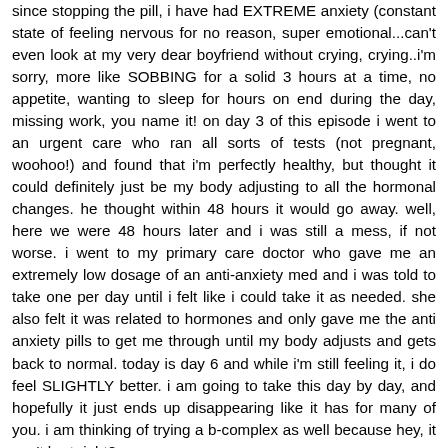since stopping the pill, i have had EXTREME anxiety (constant state of feeling nervous for no reason, super emotional...can't even look at my very dear boyfriend without crying, crying..i'm sorry, more like SOBBING for a solid 3 hours at a time, no appetite, wanting to sleep for hours on end during the day, missing work, you name it! on day 3 of this episode i went to an urgent care who ran all sorts of tests (not pregnant, woohoo!) and found that i'm perfectly healthy, but thought it could definitely just be my body adjusting to all the hormonal changes. he thought within 48 hours it would go away. well, here we were 48 hours later and i was still a mess, if not worse. i went to my primary care doctor who gave me an extremely low dosage of an anti-anxiety med and i was told to take one per day until i felt like i could take it as needed. she also felt it was related to hormones and only gave me the anti anxiety pills to get me through until my body adjusts and gets back to normal. today is day 6 and while i'm still feeling it, i do feel SLIGHTLY better. i am going to take this day by day, and hopefully it just ends up disappearing like it has for many of you. i am thinking of trying a b-complex as well because hey, it can't hurt right? again thank you ladies for these posts. it is soooo helpful to